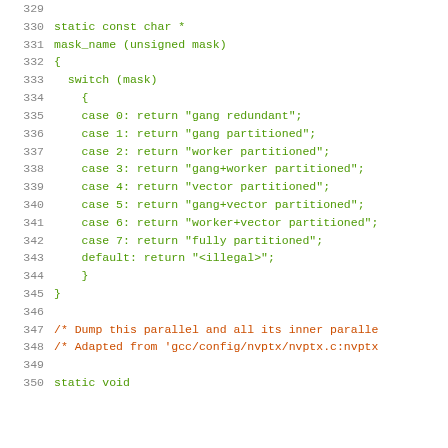source code listing lines 329-350, C function mask_name with switch statement